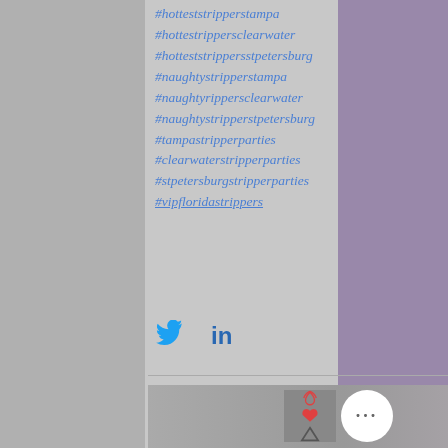#hotteststripperstampa
#hotteststrippersclearwater
#hottestrippersstpetersburg
#naughtystripperstampa
#naughtystrippersclearwater
#naughtystripperstpetersburg
#tampastripperparties
#clearwaterstripperparties
#stpetersburgstripperparties
#vipfloridastrippers
[Figure (screenshot): Social share icons: Twitter bird icon and LinkedIn icon]
[Figure (photo): Background photo showing female figure in lingerie on right side, and bottom strip with partial legs/boots]
[Figure (other): Like/heart and up-arrow button overlay, and a more options (ellipsis) circular button]